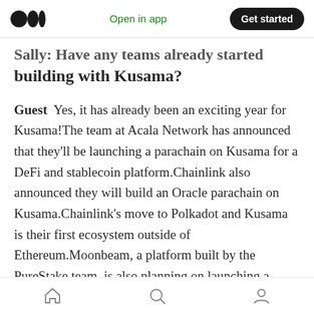Open in app | Get started
Sally: Have any teams already started building with Kusama?
Guest  Yes, it has already been an exciting year for Kusama!The team at Acala Network has announced that they'll be launching a parachain on Kusama for a DeFi and stablecoin platform.Chainlink also announced they will build an Oracle parachain on Kusama.Chainlink's move to Polkadot and Kusama is their first ecosystem outside of Ethereum.Moonbeam, a platform built by the PureStake team, is also planning on launching a Kusama parachain that
Home | Search | Profile